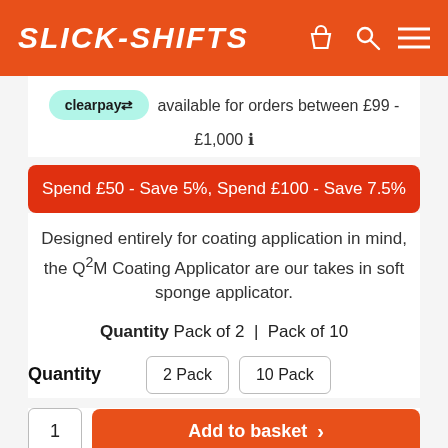SLICK-SHIFTS
clearpay available for orders between £99 - £1,000 ℹ
Spend £50 - Save 5%, Spend £100 - Save 7.5%
Designed entirely for coating application in mind, the Q²M Coating Applicator are our takes in soft sponge applicator.
Quantity Pack of 2 | Pack of 10
Quantity  2 Pack  10 Pack
1  Add to basket >